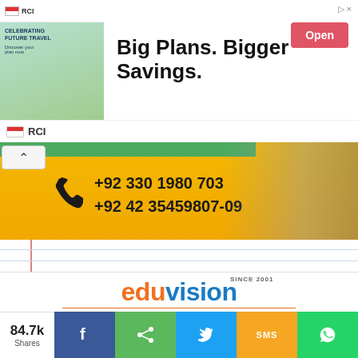[Figure (advertisement): RCI travel advertisement banner with 'Big Plans. Bigger Savings.' headline and Open button]
[Figure (infographic): Yellow phone banner with +92 330 1980 703 and +92 42 35459807-09 contact numbers]
[Figure (logo): Eduvision logo with orange 'edu' and blue 'vision' text, SINCE 2001 tag, CAREER PLANNING - EDUCATIONAL SERVICES tagline]
84.7k Shares